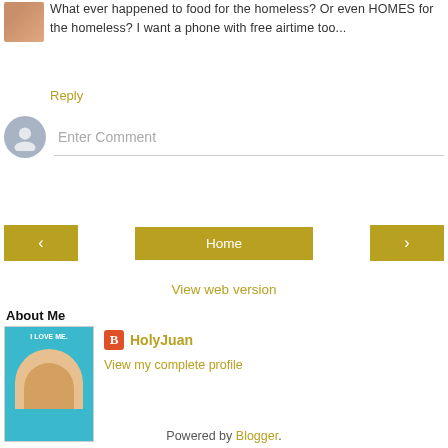What ever happened to food for the homeless? Or even HOMES for the homeless? I want a phone with free airtime too...
Reply
Enter Comment
< Home >
View web version
About Me
HolyJuan
View my complete profile
Powered by Blogger.